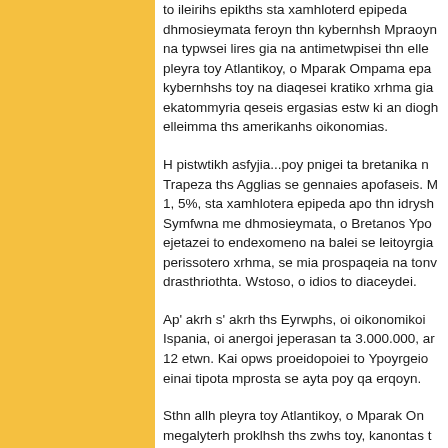to ileirihs epikths sta xamhloterd epipeda dhmosieymata feroyn thn kybernhsh Mpraoyn na typwsei lires gia na antimetwpisei thn elle pleyra toy Atlantikoy, o Mparak Ompama epa kybernhshs toy na diaqesei kratiko xrhma gia ekatommyria qeseis ergasias estw ki an diogh elleimma ths amerikanhs oikonomias.
H pistwtikh asfyjia...poy pnigei ta bretanika n Trapeza ths Agglias se gennaies apofaseis. M 1, 5%, sta xamhlotera epipeda apo thn idrysh Symfwna me dhmosieymata, o Bretanos Ypo ejetazei to endexomeno na balei se leitoyrgia perissotero xrhma, se mia prospaqeia na tonv drasthriothta. Wstoso, o idios to diaceydei.
Ap' akrh s' akrh ths Eyrwphs, oi oikonomikoi Ispania, oi anergoi jeperasan ta 3.000.000, ar 12 etwn. Kai opws proeidopoiei to Ypoyrgeio einai tipota mprosta se ayta poy qa erqoyn.
Sthn allh pleyra toy Atlantikoy, o Mparak On megalyterh proklhsh ths zwhs toy, kanontas t ariqmhtikh. Apo th Birtzinia, proanhggeile fi ths oikonomias. Kai apo thn Irlandia, ta mant hlektronikwn ypologistwn Ntel anakoinwse p